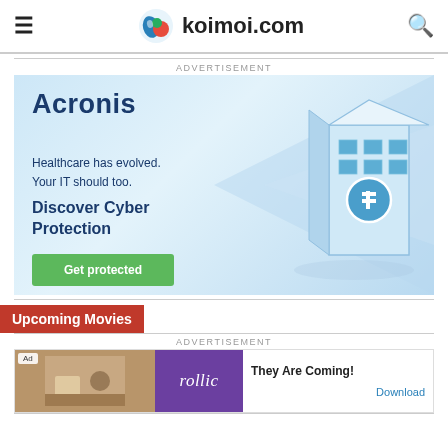koimoi.com
ADVERTISEMENT
[Figure (illustration): Acronis advertisement banner with light blue background featuring healthcare building illustration. Text: 'Acronis', 'Healthcare has evolved. Your IT should too.', 'Discover Cyber Protection', 'Get protected' button.]
ADVERTISEMENT
Upcoming Movies
[Figure (screenshot): Rollic Games ad: 'They Are Coming!' with Download link. Shows game screenshot on left, purple Rollic logo in middle, text on right.]